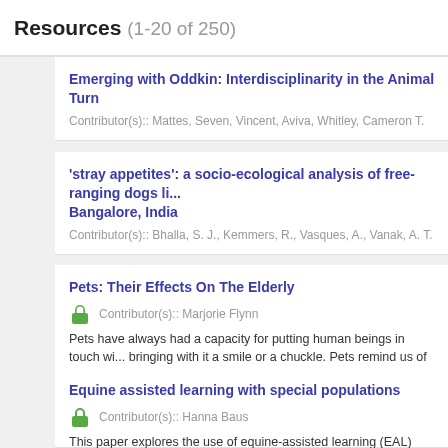Resources (1-20 of 250)
Emerging with Oddkin: Interdisciplinarity in the Animal Turn
Contributor(s):: Mattes, Seven, Vincent, Aviva, Whitley, Cameron T.
'stray appetites': a socio-ecological analysis of free-ranging dogs li... Bangalore, India
Contributor(s):: Bhalla, S. J., Kemmers, R., Vasques, A., Vanak, A. T.
Pets: Their Effects On The Elderly
Contributor(s):: Marjorie Flynn
Pets have always had a capacity for putting human beings in touch wi... bringing with it a smile or a chuckle. Pets remind us of spring, of youth...
Equine assisted learning with special populations
Contributor(s):: Hanna Baus
This paper explores the use of equine-assisted learning (EAL) activitie...